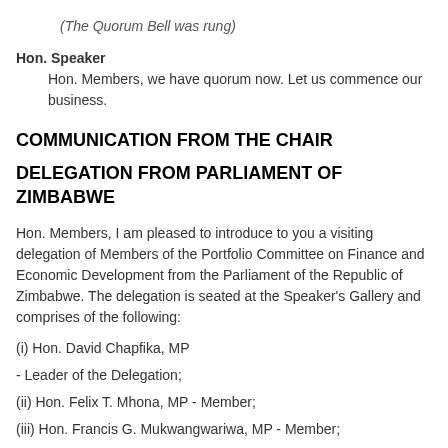(The Quorum Bell was rung)
Hon. Speaker
Hon. Members, we have quorum now. Let us commence our business.
COMMUNICATION FROM THE CHAIR
DELEGATION FROM PARLIAMENT OF ZIMBABWE
Hon. Members, I am pleased to introduce to you a visiting delegation of Members of the Portfolio Committee on Finance and Economic Development from the Parliament of the Republic of Zimbabwe. The delegation is seated at the Speaker's Gallery and comprises of the following:
(i) Hon. David Chapfika, MP
- Leader of the Delegation;
(ii) Hon. Felix T. Mhona, MP - Member;
(iii) Hon. Francis G. Mukwangwariwa, MP - Member;
(iv) Hon. Washington Musvaire, MP - Member;
(v) Hon. Terence Mukupe, MP - Member;